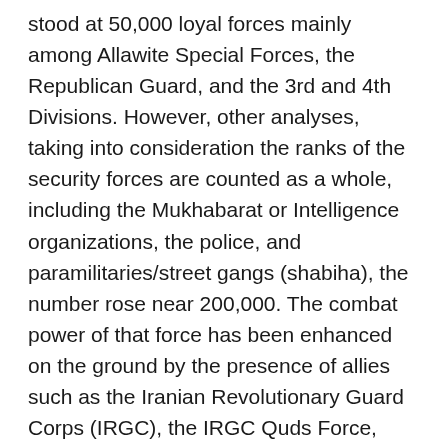stood at 50,000 loyal forces mainly among Allawite Special Forces, the Republican Guard, and the 3rd and 4th Divisions. However, other analyses, taking into consideration the ranks of the security forces are counted as a whole, including the Mukhabarat or Intelligence organizations, the police, and paramilitaries/street gangs (shabiha), the number rose near 200,000. The combat power of that force has been enhanced on the ground by the presence of allies such as the Iranian Revolutionary Guard Corps (IRGC), the IRGC Quds Force, Hezbollah, the National Defense Forces militia, and Iraqi Shi'a militant brigades. Tons of arms and sophisticated weapon systems from Russia, and additional aid from Iran, further enhanced the force. Israeli analysts had estimated that 4,000 Iranian officers and men from the IRGC, Ministry of Intelligence and Security, and Quds Force were on the